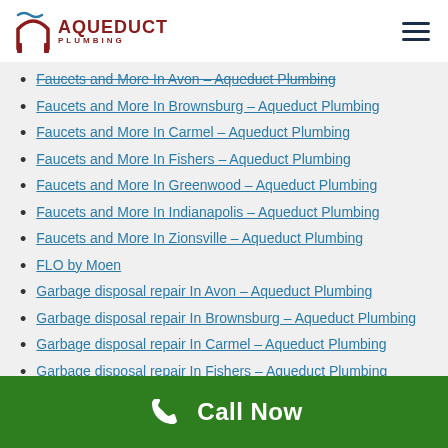[Figure (logo): Aqueduct Plumbing logo with red arch/bridge icon and blue wave, text AQUEDUCT PLUMBING in dark red]
Faucets and More In Avon – Aqueduct Plumbing
Faucets and More In Brownsburg – Aqueduct Plumbing
Faucets and More In Carmel – Aqueduct Plumbing
Faucets and More In Fishers – Aqueduct Plumbing
Faucets and More In Greenwood – Aqueduct Plumbing
Faucets and More In Indianapolis – Aqueduct Plumbing
Faucets and More In Zionsville – Aqueduct Plumbing
FLO by Moen
Garbage disposal repair In Avon – Aqueduct Plumbing
Garbage disposal repair In Brownsburg – Aqueduct Plumbing
Garbage disposal repair In Carmel – Aqueduct Plumbing
Garbage disposal repair In Fishers – Aqueduct Plumbing
Garbage disposal repair In Greenwood – Aqueduct Plumbing
Call Now